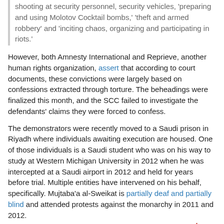shooting at security personnel, security vehicles, 'preparing and using Molotov Cocktail bombs,' 'theft and armed robbery' and 'inciting chaos, organizing and participating in riots.'
However, both Amnesty International and Reprieve, another human rights organization, assert that according to court documents, these convictions were largely based on confessions extracted through torture. The beheadings were finalized this month, and the SCC failed to investigate the defendants' claims they were forced to confess.
The demonstrators were recently moved to a Saudi prison in Riyadh where individuals awaiting execution are housed. One of those individuals is a Saudi student who was on his way to study at Western Michigan University in 2012 when he was intercepted at a Saudi airport in 2012 and held for years before trial. Multiple entities have intervened on his behalf, specifically. Mujtaba'a al-Sweikat is partially deaf and partially blind and attended protests against the monarchy in 2011 and 2012.
read on…
Written by Carey Wedler
Groupthink at the CIA
tuesday august 1, 2017
[Figure (photo): Photo of a man in a suit, dark background, partial face visible]